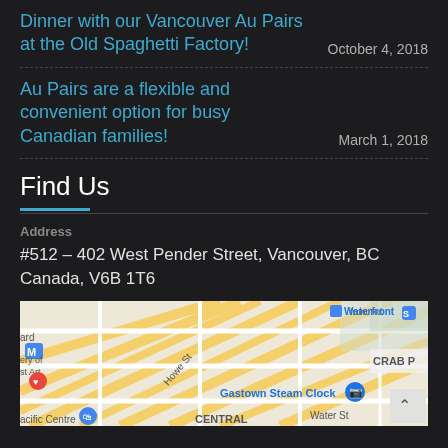Dinner with our Vancouver Au Pairs at the Old Spaghetti Factory! — October 4, 2018
Au Pairs are a flexible and convenient option for busy Canadian families! — March 1, 2018
Find Us
Address
#512 – 402 West Pender Street, Vancouver, BC Canada, V6B 1T6
[Figure (map): Google map showing Vancouver downtown area near Waterfront, Gastown Steam Clock, Howe St, Water St, CRAB Park, Central area]